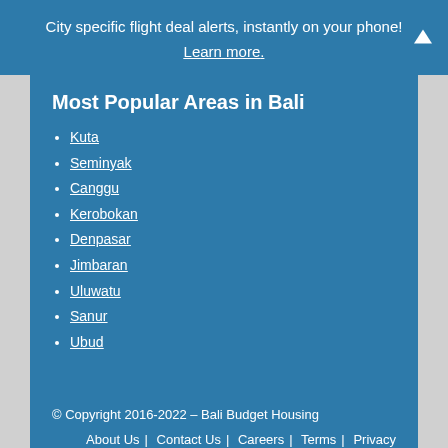City specific flight deal alerts, instantly on your phone!
Learn more.
Most Popular Areas in Bali
Kuta
Seminyak
Canggu
Kerobokan
Denpasar
Jimbaran
Uluwatu
Sanur
Ubud
© Copyright 2016-2022 – Bali Budget Housing
About Us | Contact Us | Careers | Terms | Privacy